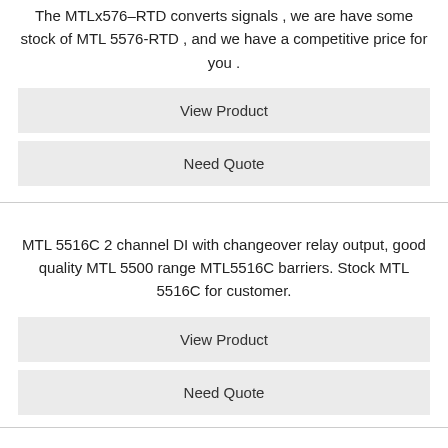The MTLx576–RTD converts signals , we are have some stock of MTL 5576-RTD , and we have a competitive price for you .
View Product
Need Quote
MTL 5516C 2 channel DI with changeover relay output, good quality MTL 5500 range MTL5516C barriers. Stock MTL 5516C for customer.
View Product
Need Quote
MTL 5514D 1 channel switch/prox input, dual output relay, England origin stock product MTL 5500 range MTL5514D